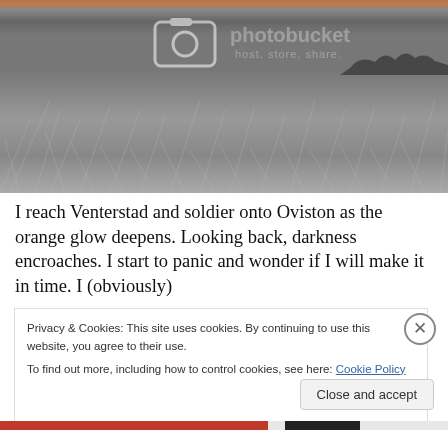[Figure (photo): Black and white landscape photo of a savanna/grassland with dry grass in the foreground and a faint orange-pink sunset sky at the top. A Photobucket watermark (camera icon + 'photobucket host. store. share.') overlays the upper center of the image.]
I reach Venterstad and soldier onto Oviston as the orange glow deepens. Looking back, darkness encroaches. I start to panic and wonder if I will make it in time. I (obviously)
Privacy & Cookies: This site uses cookies. By continuing to use this website, you agree to their use.
To find out more, including how to control cookies, see here: Cookie Policy